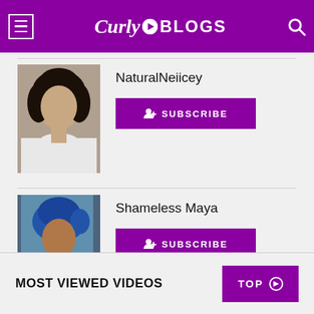Curly BLOGS
[Figure (photo): Profile photo of NaturalNeiicey — woman with long curly black hair wearing white off-shoulder top]
NaturalNeiicey
SUBSCRIBE
[Figure (photo): Profile photo of Shameless Maya — woman wearing blue head wrap and blue outfit]
Shameless Maya
SUBSCRIBE
MOST VIEWED VIDEOS
TOP